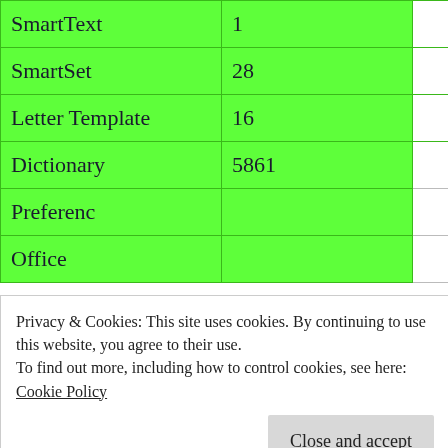| SmartText | 1 |
| SmartSet | 28 |
| Letter Template | 16 |
| Dictionary | 5861 |
| Preferenc |  |
| Office |  |
Privacy & Cookies: This site uses cookies. By continuing to use this website, you agree to their use.
To find out more, including how to control cookies, see here:
Cookie Policy
Close and accept